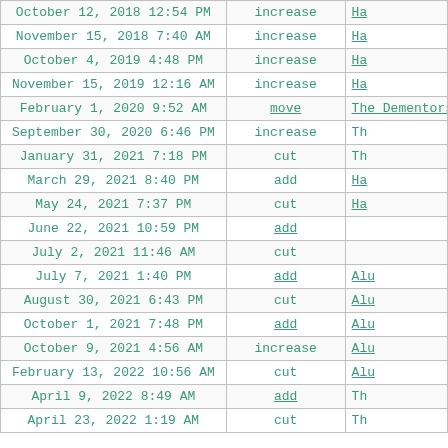| Date | Action | Song |
| --- | --- | --- |
| October 12, 2018 12:54 PM | increase | Ha... |
| November 15, 2018 7:40 AM | increase | Ha... |
| October 4, 2019 4:48 PM | increase | Ha... |
| November 15, 2019 12:16 AM | increase | Ha... |
| February 1, 2020 9:52 AM | move | The Dementors |
| September 30, 2020 6:46 PM | increase | Th... |
| January 31, 2021 7:18 PM | cut | Th... |
| March 29, 2021 8:40 PM | add | Ha... |
| May 24, 2021 7:37 PM | cut | Ha... |
| June 22, 2021 10:59 PM | add |  |
| July 2, 2021 11:46 AM | cut |  |
| July 7, 2021 1:40 PM | add | Alu... |
| August 30, 2021 6:43 PM | cut | Alu... |
| October 1, 2021 7:48 PM | add | Alu... |
| October 9, 2021 4:56 AM | increase | Alu... |
| February 13, 2022 10:56 AM | cut | Alu... |
| April 9, 2022 8:49 AM | add | Th... |
| April 23, 2022 1:19 AM | cut | Th... |